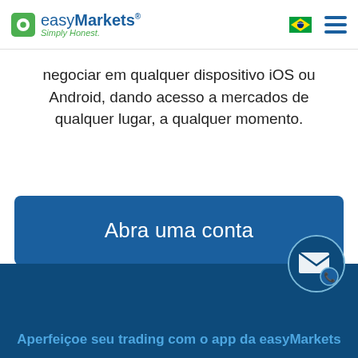easyMarkets Simply Honest.
negociar em qualquer dispositivo iOS ou Android, dando acesso a mercados de qualquer lugar, a qualquer momento.
Abra uma conta
[Figure (illustration): Contact/support icon — envelope with phone receiver badge, circular button on dark blue background]
Aperfeiçoe seu trading com o app da easyMarkets